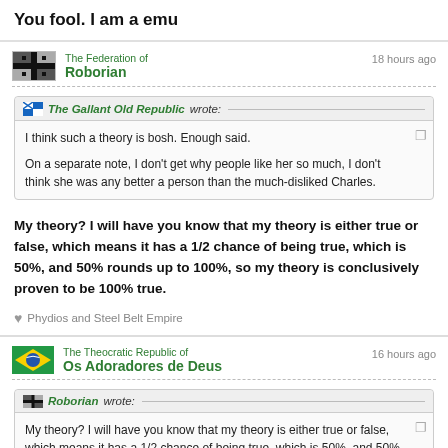You fool. I am a emu
The Federation of Roborian — 18 hours ago
The Gallant Old Republic wrote: I think such a theory is bosh. Enough said.

On a separate note, I don't get why people like her so much, I don't think she was any better a person than the much-disliked Charles.
My theory? I will have you know that my theory is either true or false, which means it has a 1/2 chance of being true, which is 50%, and 50% rounds up to 100%, so my theory is conclusively proven to be 100% true.
Phydios and Steel Belt Empire
The Theocratic Republic of Os Adoradores de Deus — 16 hours ago
Roborian wrote: My theory? I will have you know that my theory is either true or false, which means it has a 1/2 chance of being true, which is 50%, and 50% rounds up to 100%, so my theory is conclusively proven to be 100% true.